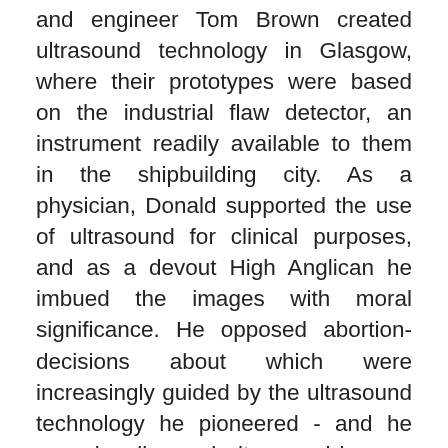and engineer Tom Brown created ultrasound technology in Glasgow, where their prototypes were based on the industrial flaw detector, an instrument readily available to them in the shipbuilding city. As a physician, Donald supported the use of ultrasound for clinical purposes, and as a devout High Anglican he imbued the images with moral significance. He opposed abortion-decisions about which were increasingly guided by the ultrasound technology he pioneered - and he occasionally used ultrasound images to convince pregnant women not to abort the fetuses they could now see. This book explores why earlier innovators failed where Donald and Brown succeeded. It also shows how ultrasound developed into a black box technology whose users can fully appreciate the images they produce and have no need to understand the